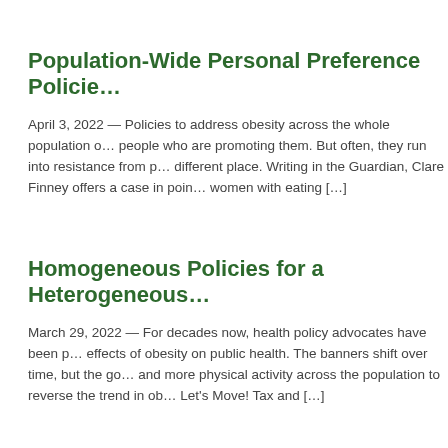Population-Wide Personal Preference Policie…
April 3, 2022 — Policies to address obesity across the whole population o… people who are promoting them. But often, they run into resistance from p… different place. Writing in the Guardian, Clare Finney offers a case in poin… women with eating […]
Homogeneous Policies for a Heterogeneous…
March 29, 2022 — For decades now, health policy advocates have been p… effects of obesity on public health. The banners shift over time, but the go… and more physical activity across the population to reverse the trend in ob… Let's Move! Tax and […]